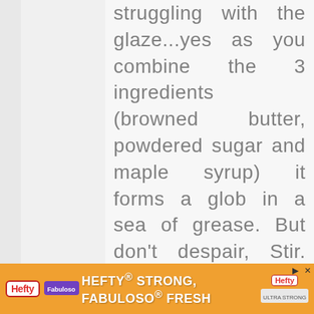struggling with the glaze...yes as you combine the 3 ingredients (browned butter, powdered sugar and maple syrup) it forms a glob in a sea of grease. But don't despair, Stir. Stir and stir some more. It will come together and look exactly like in the
[Figure (illustration): Accessibility icon — blue circle with white stick figure person with arms outstretched]
[Figure (other): Advertisement banner for Hefty Strong, Fabuloso Fresh products in orange background]